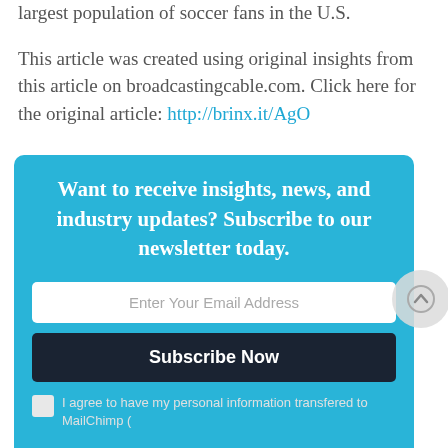largest population of soccer fans in the U.S.
This article was created using original insights from this article on broadcastingcable.com. Click here for the original article: http://brinx.it/AgO
[Figure (other): Newsletter subscription widget with blue background containing title 'Want to receive insights, news, and industry updates? Subscribe to our newsletter today.', an email input field, a Subscribe Now button, and a checkbox for agreeing to transfer personal information to MailChimp.]